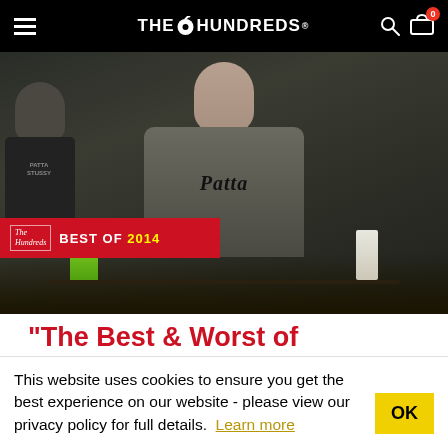THE HUNDREDS — navigation bar with hamburger menu, logo, search and cart icons
[Figure (photo): Dark moody photo of a young man sitting at a kitchen table wearing a grey Patta crewneck sweatshirt. Another person in background wearing Patta Stussy jacket. Red 'Best of 2014' banner overlaid at bottom left with The Hundreds cursive logo.]
“The Best & Worst of VideoDaze 2014” by
This website uses cookies to ensure you get the best experience on our website - please view our privacy policy for full details. Learn more
OK